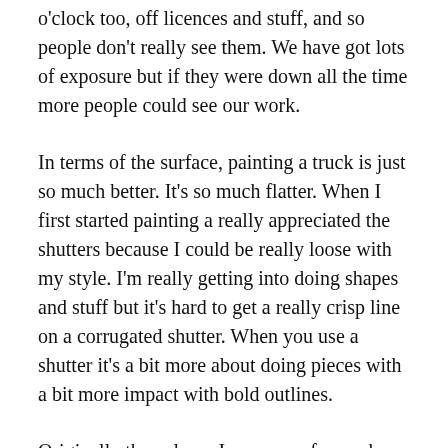o'clock too, off licences and stuff, and so people don't really see them. We have got lots of exposure but if they were down all the time more people could see our work.
In terms of the surface, painting a truck is just so much better. It's so much flatter. When I first started painting a really appreciated the shutters because I could be really loose with my style. I'm really getting into doing shapes and stuff but it's hard to get a really crisp line on a corrugated shutter. When you use a shutter it's a bit more about doing pieces with a bit more impact with bold outlines.
Originally the colours I use come from when Malarky and I went to paint together. We used to go buy paint together and use the same colours. And then we based it on the Posca Paint Pallet. All 94 colours are quite bright and nice to work with. From there it kind of just developed where we would just get the same sort of